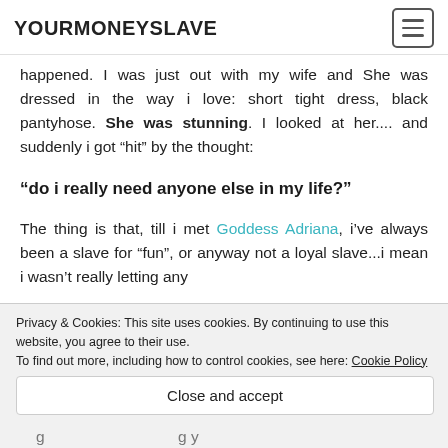YOURMONEYSLAVE
happened. I was just out with my wife and She was dressed in the way i love: short tight dress, black pantyhose. She was stunning. I looked at her.... and suddenly i got “hit” by the thought:
“do i really need anyone else in my life?”
The thing is that, till i met Goddess Adriana, i’ve always been a slave for “fun”, or anyway not a loyal slave...i mean i wasn’t really letting any of them Goddess enter my everyday life. Well...
Privacy & Cookies: This site uses cookies. By continuing to use this website, you agree to their use. To find out more, including how to control cookies, see here: Cookie Policy
Close and accept